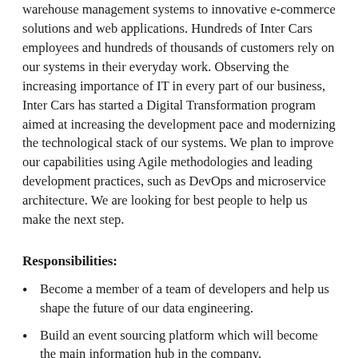warehouse management systems to innovative e-commerce solutions and web applications. Hundreds of Inter Cars employees and hundreds of thousands of customers rely on our systems in their everyday work. Observing the increasing importance of IT in every part of our business, Inter Cars has started a Digital Transformation program aimed at increasing the development pace and modernizing the technological stack of our systems. We plan to improve our capabilities using Agile methodologies and leading development practices, such as DevOps and microservice architecture. We are looking for best people to help us make the next step.
Responsibilities:
Become a member of a team of developers and help us shape the future of our data engineering.
Build an event sourcing platform which will become the main information hub in the company.
Design and develop data structures, pipelines and ETL